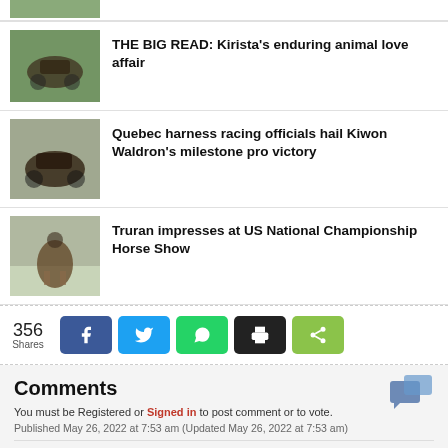[Figure (photo): Partial image at top (cropped horse/nature photo)]
THE BIG READ: Kirista's enduring animal love affair
[Figure (photo): Harness racing horse pulling sulky with driver]
Quebec harness racing officials hail Kiwon Waldron's milestone pro victory
[Figure (photo): Harness racing horse and driver on track]
Truran impresses at US National Championship Horse Show
[Figure (photo): Rider on brown horse at show jumping event]
356 Shares
Comments
You must be Registered or Signed in to post comment or to vote.
Published May 26, 2022 at 7:53 am (Updated May 26, 2022 at 7:53 am)
Casey Truran unsung no longer at Savannah College